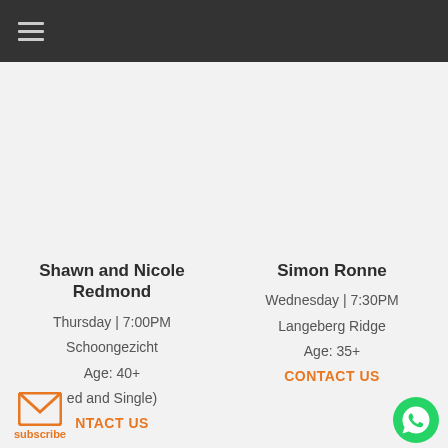Navigation menu bar
Shawn and Nicole Redmond
Thursday | 7:00PM
Schoongezicht
Age: 40+
ed and Single)
NTACT US
Simon Ronne
Wednesday | 7:30PM
Langeberg Ridge
Age: 35+
CONTACT US
subscribe